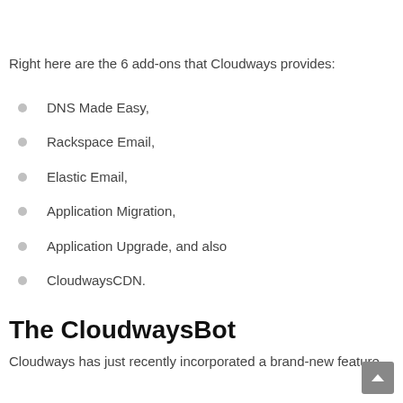Right here are the 6 add-ons that Cloudways provides:
DNS Made Easy,
Rackspace Email,
Elastic Email,
Application Migration,
Application Upgrade, and also
CloudwaysCDN.
The CloudwaysBot
Cloudways has just recently incorporated a brand-new feature